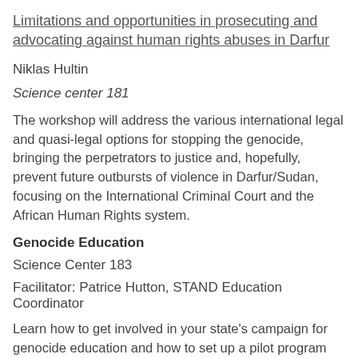Limitations and opportunities in prosecuting and advocating against human rights abuses in Darfur
Niklas Hultin
Science center 181
The workshop will address the various international legal and quasi-legal options for stopping the genocide, bringing the perpetrators to justice and, hopefully, prevent future outbursts of violence in Darfur/Sudan, focusing on the International Criminal Court and the African Human Rights system.
Genocide Education
Science Center 183
Facilitator: Patrice Hutton, STAND Education Coordinator
Learn how to get involved in your state's campaign for genocide education and how to set up a pilot program for